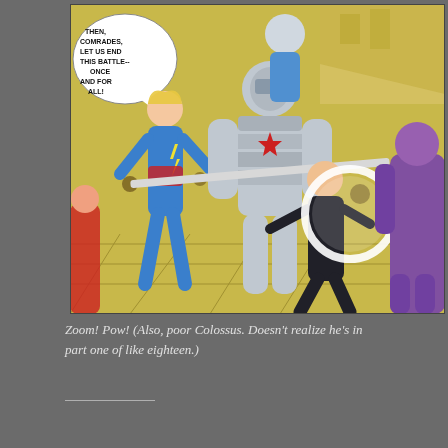[Figure (illustration): A comic book panel showing superhero characters in action. A character in a blue suit with a lightning bolt emblem is fighting alongside others against a large armored figure (Colossus). A character in black is also visible, along with other heroes and a purple villain on the right. A speech bubble reads: 'THEN, COMRADES, LET US END THIS BATTLE-- ONCE AND FOR ALL!' The background features yellow explosion effects and geometric shapes.]
Zoom! Pow! (Also, poor Colossus. Doesn't realize he's in part one of like eighteen.)